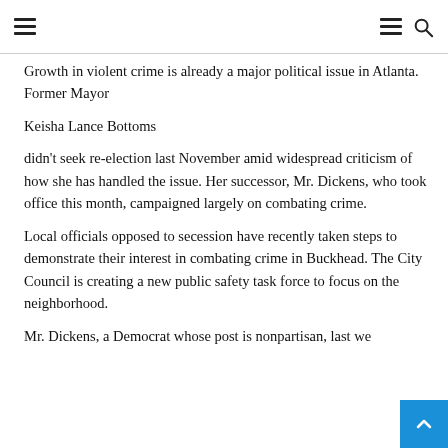[navigation menu icons and search icon]
Growth in violent crime is already a major political issue in Atlanta. Former Mayor
Keisha Lance Bottoms
didn't seek re-election last November amid widespread criticism of how she has handled the issue. Her successor, Mr. Dickens, who took office this month, campaigned largely on combating crime.
Local officials opposed to secession have recently taken steps to demonstrate their interest in combating crime in Buckhead. The City Council is creating a new public safety task force to focus on the neighborhood.
Mr. Dickens, a Democrat whose post is nonpartisan, last we